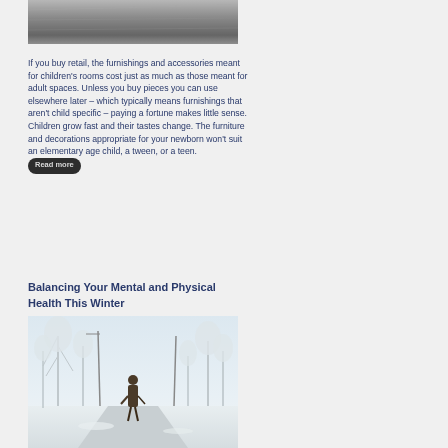[Figure (photo): Partial top image, appears to be a textured surface or road, cropped at the top of the page]
If you buy retail, the furnishings and accessories meant for children's rooms cost just as much as those meant for adult spaces. Unless you buy pieces you can use elsewhere later – which typically means furnishings that aren't child specific – paying a fortune makes little sense. Children grow fast and their tastes change. The furniture and decorations appropriate for your newborn won't suit an elementary age child, a tween, or a teen. Read more
Balancing Your Mental and Physical Health This Winter
[Figure (photo): A person in a dark coat walking away down a snow-covered road lined with snow-covered trees in winter]